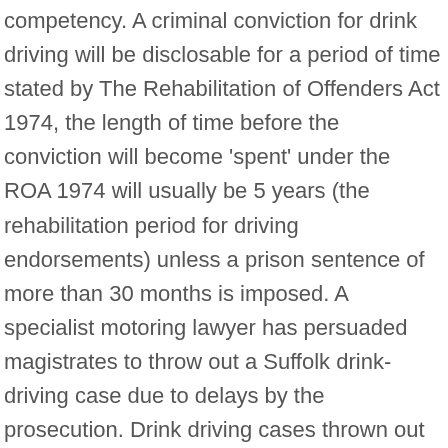competency. A criminal conviction for drink driving will be disclosable for a period of time stated by The Rehabilitation of Offenders Act 1974, the length of time before the conviction will become 'spent' under the ROA 1974 will usually be 5 years (the rehabilitation period for driving endorsements) unless a prison sentence of more than 30 months is imposed. A specialist motoring lawyer has persuaded magistrates to throw out a Suffolk drink-driving case due to delays by the prosecution. Drink driving cases thrown out of court. Attending your own drink driving court case is most likely going to be a stressful situation, and will only become more stressful if you choose to represent yourself. Drink driving cases thrown out of court. 30 April 2019. “The only real issue in this case is the reliability of the blood sample, so it’s difficult to see how the